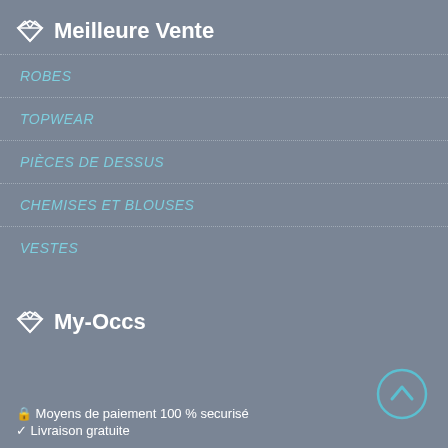Meilleure Vente
ROBES
TOPWEAR
PIÈCES DE DESSUS
CHEMISES ET BLOUSES
VESTES
My-Occs
🔒 Moyens de paiement 100 % securisé
✓ Livraison gratuite